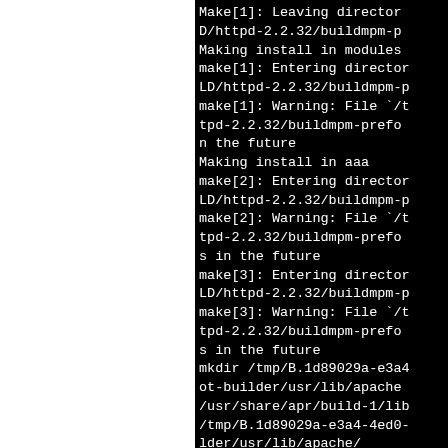Make[1]: Leaving director
D/httpd-2.2.32/buildmpm-p
Making install in modules
make[1]: Entering director
LD/httpd-2.2.32/buildmpm-p
make[1]: Warning: File `/t
tpd-2.2.32/buildmpm-prefo
n the future
Making install in aaa
make[2]: Entering director
LD/httpd-2.2.32/buildmpm-p
make[2]: Warning: File `/t
tpd-2.2.32/buildmpm-prefo
s in the future
make[3]: Entering director
LD/httpd-2.2.32/buildmpm-p
make[3]: Warning: File `/t
tpd-2.2.32/buildmpm-prefo
s in the future
mkdir /tmp/B.1d89029a-e3a4
ot-builder/usr/lib/apache
/usr/share/apr/build-1/lib
/tmp/B.1d89029a-e3a4-4ed0-
lder/usr/lib/apache/